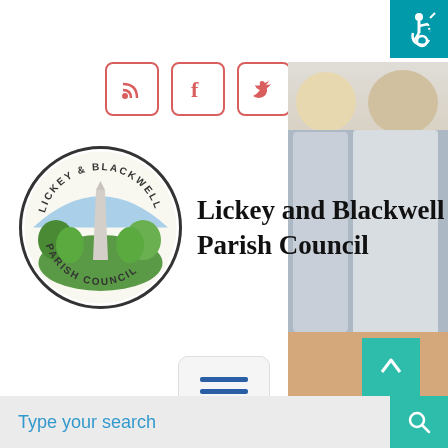[Figure (logo): Accessibility wheelchair icon on teal background, top-right corner]
[Figure (infographic): Four social media icon buttons (RSS, Facebook, Twitter, Instagram) with red-pink borders]
[Figure (photo): Partial photo of councillors (two women visible) on the right side]
[Figure (logo): Lickey and Blackwell Parish Council circular logo with obelisk and trees]
Lickey and Blackwell Parish Council
[Figure (infographic): Hamburger menu button (three horizontal blue lines) on a light rounded rectangle]
[Figure (infographic): Back-to-top arrow button on teal background, bottom right]
Type your search